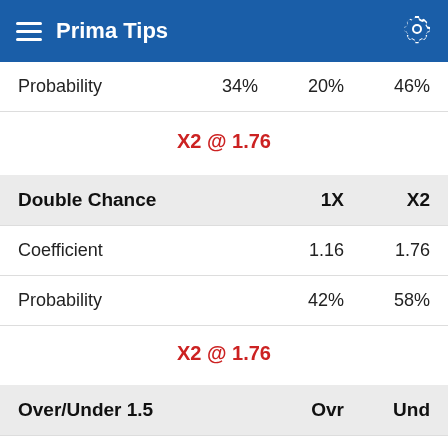Prima Tips
|  |  |  |
| --- | --- | --- |
| Probability | 34% | 20% | 46% |
X2 @ 1.76
| Double Chance | 1X | X2 |
| --- | --- | --- |
| Coefficient | 1.16 | 1.76 |
| Probability | 42% | 58% |
X2 @ 1.76
| Over/Under 1.5 | Ovr | Und |
| --- | --- | --- |
| Coefficient | 1.59 | 2.21 |
| Probability | 65% | 35% |